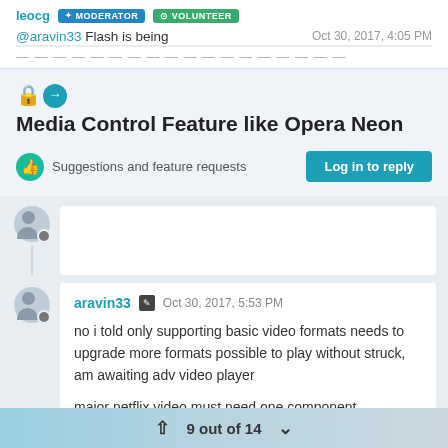leocg MODERATOR VOLUNTEER — @aravin33 Flash is being — Oct 30, 2017, 4:05 PM
Media Control Feature like Opera Neon
Suggestions and feature requests
Log in to reply
aravin33 — Oct 30, 2017, 5:53 PM — no i told only supporting basic video formats needs to upgrade more formats possible to play without struck, am awaiting adv video player

maior netflix video must need one component
9 out of 14